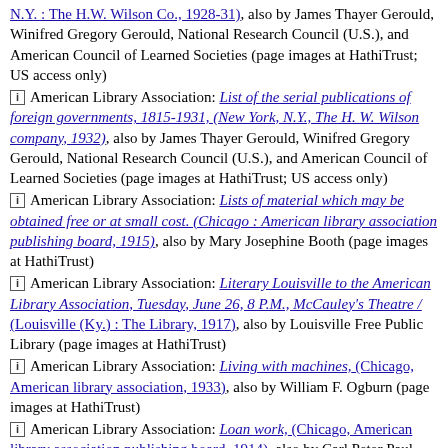[i] American Library Association: List of the serial publications of foreign governments, 1815-1931, (New York, N.Y., The H. W. Wilson company, 1932), also by James Thayer Gerould, Winifred Gregory Gerould, National Research Council (U.S.), and American Council of Learned Societies (page images at HathiTrust; US access only)
[i] American Library Association: Lists of material which may be obtained free or at small cost. (Chicago : American library association publishing board, 1915), also by Mary Josephine Booth (page images at HathiTrust)
[i] American Library Association: Literary Louisville to the American Library Association, Tuesday, June 26, 8 P.M., McCauley's Theatre / (Louisville (Ky.) : The Library, 1917), also by Louisville Free Public Library (page images at HathiTrust)
[i] American Library Association: Living with machines, (Chicago, American library association, 1933), also by William F. Ogburn (page images at HathiTrust)
[i] American Library Association: Loan work, (Chicago, American library association publishing board, 1914), also by Carl Peter Paul Vitz (page images at HathiTrust)